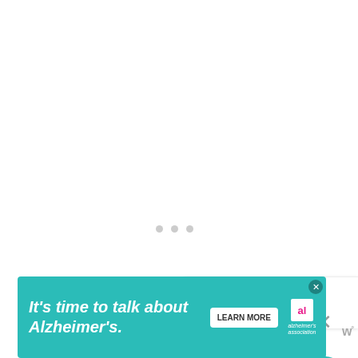[Figure (screenshot): White content area with loading indicator (three gray dots) in the center]
[Figure (infographic): Teal heart/like button showing count of 40, and a share button below it]
[Figure (infographic): What's Next panel with thumbnail and text: WHAT'S NEXT → Colorful DIY Washi Tape...]
w°
[Figure (infographic): Advertisement banner: It's time to talk about Alzheimer's. LEARN MORE. Alzheimer's association logo.]